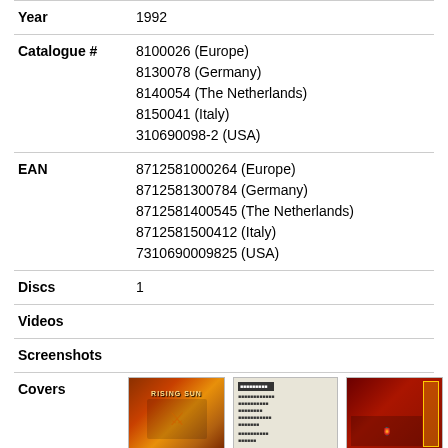| Field | Value |
| --- | --- |
| Year | 1992 |
| Catalogue # | 8100026 (Europe)
8130078 (Germany)
8140054 (The Netherlands)
8150041 (Italy)
310690098-2 (USA) |
| EAN | 8712581000264 (Europe)
8712581300784 (Germany)
8712581400545 (The Netherlands)
8712581500412 (Italy)
7310690009825 (USA) |
| Discs | 1 |
| Videos |  |
| Screenshots |  |
| Covers |  |
[Figure (photo): Thumbnail images of album covers including front cover, back cover, and side panel, plus disc and additional covers in second row]